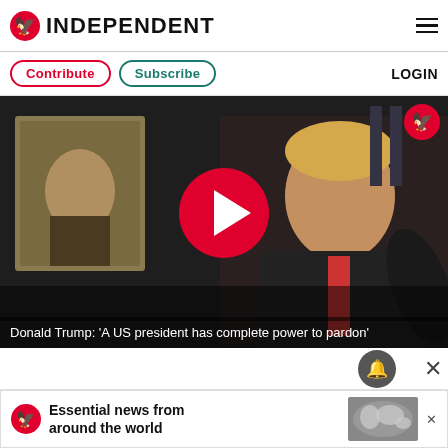INDEPENDENT
Contribute  Subscribe  LOGIN
[Figure (screenshot): Video thumbnail showing Donald Trump speaking at a podium with a portrait painting in the background. A large red play button circle is overlaid in the center.]
Donald Trump: 'A US president has complete power to pardon'
[Figure (infographic): Advertisement banner: The Independent logo with text 'Essential news from around the world' and a globe/map graphic]